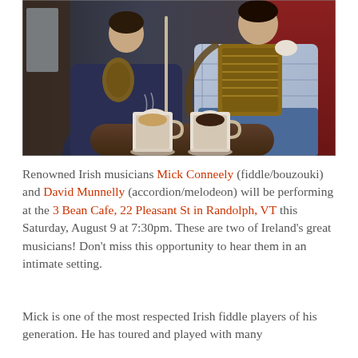[Figure (photo): Two Irish musicians sitting together, one holding a fiddle/bow and the other holding an accordion/bouzouki, with two cups of coffee on a table in the foreground, in a wood-paneled interior setting.]
Renowned Irish musicians Mick Conneely (fiddle/bouzouki) and David Munnelly (accordion/melodeon) will be performing at the 3 Bean Cafe, 22 Pleasant St in Randolph, VT this Saturday, August 9 at 7:30pm. These are two of Ireland's great musicians! Don't miss this opportunity to hear them in an intimate setting.
Mick is one of the most respected Irish fiddle players of his generation. He has toured and played with many